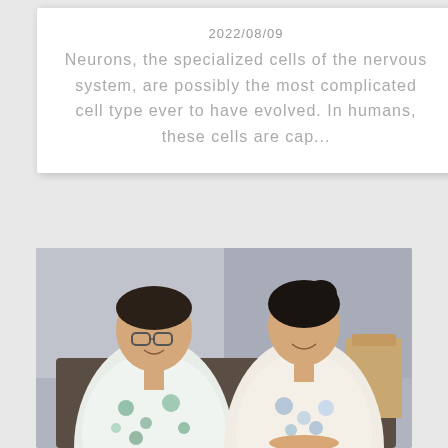2022/08/09
Neurons, the specialized cells of the nervous system, are possibly the most complicated cell type ever to have evolved. In humans, these cells are cap...
[Figure (photo): Two people sitting side by side and smiling. The person on the left is a man wearing glasses and a floral Hawaiian-style shirt. The person on the right is a woman wearing a floral kimono-style garment. They are seated on a dark sofa/bench in what appears to be a modern interior space.]